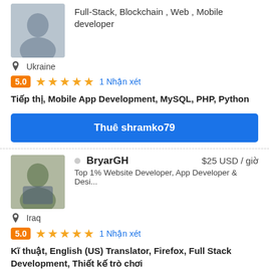Full-Stack, Blockchain , Web , Mobile developer
Ukraine
5.0  ★★★★★  1 Nhận xét
Tiếp thị, Mobile App Development, MySQL, PHP, Python
Thuê shramko79
BryarGH  $25 USD / giờ
Top 1% Website Developer, App Developer & Desi...
Iraq
5.0  ★★★★★  1 Nhận xét
Kĩ thuật, English (US) Translator, Firefox, Full Stack Development, Thiết kế trò chơi
Thuê BryarGH